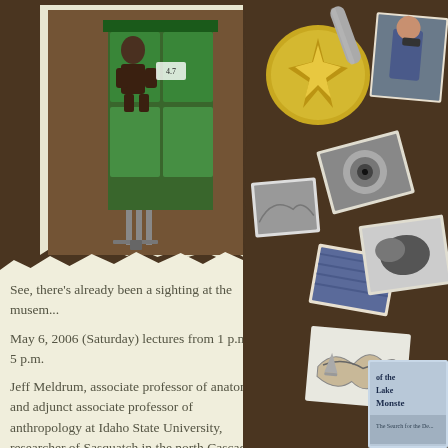[Figure (photo): Photo of a Sasquatch/Bigfoot action figure or model displayed in a store rack or display stand, green packaging visible]
[Figure (photo): Collage of various cryptozoology and mystery-related images: gold star medallion, scattered photographs, book covers including one about Lake Monsters, illustrations of sea creatures, a man with camera, black and white photographs]
See, there's already been a sighting at the musem...
May 6, 2006 (Saturday) lectures from 1 p.m. to 5 p.m.
Jeff Meldrum, associate professor of anatomy and adjunct associate professor of anthropology at Idaho State University, researcher of Sasquatch in the north Cascades and southern Colorado,